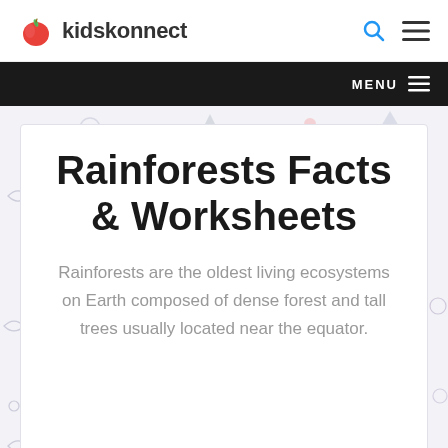kidskonnect
Rainforests Facts & Worksheets
Rainforests are the oldest living ecosystems on Earth composed of dense forest and tall trees usually located near the equator.